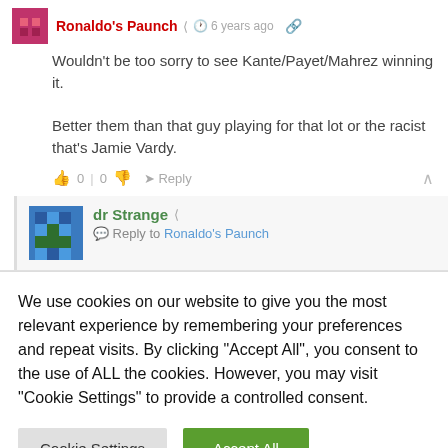Ronaldo's Paunch · 6 years ago
Wouldn't be too sorry to see Kante/Payet/Mahrez winning it.

Better them than that guy playing for that lot or the racist that's Jamie Vardy.
0 | 0  Reply
dr Strange · Reply to Ronaldo's Paunch
We use cookies on our website to give you the most relevant experience by remembering your preferences and repeat visits. By clicking "Accept All", you consent to the use of ALL the cookies. However, you may visit "Cookie Settings" to provide a controlled consent.
Cookie Settings | Accept All